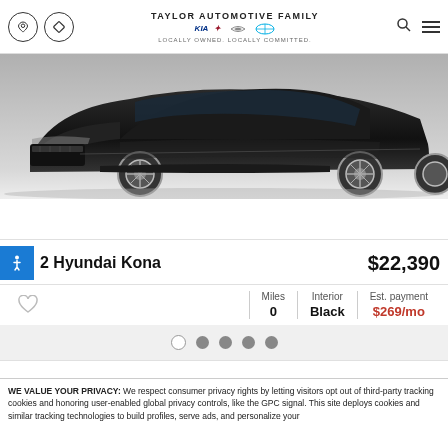Taylor Automotive Family — LOCALLY OWNED. LOCALLY COMMITTED.
[Figure (photo): Front three-quarter view of a dark-colored Hyundai Kona SUV on a grey background]
2 Hyundai Kona — $22,390
| Miles | Interior | Est. payment |
| --- | --- | --- |
| 0 | Black | $269/mo |
WE VALUE YOUR PRIVACY: We respect consumer privacy rights by letting visitors opt out of third-party tracking cookies and honoring user-enabled global privacy controls, like the GPC signal. This site deploys cookies and similar tracking technologies to build profiles, serve ads, and personalize your